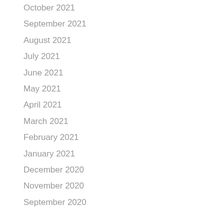October 2021
September 2021
August 2021
July 2021
June 2021
May 2021
April 2021
March 2021
February 2021
January 2021
December 2020
November 2020
September 2020